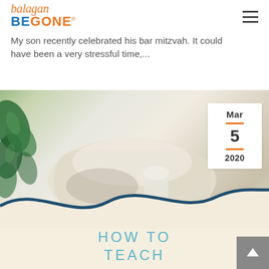balagan BE GONE
My son recently celebrated his bar mitzvah. It could have been a very stressful time,...
[Figure (photo): Blog post card image showing a light-colored cozy chair/cushions with green tropical leaf decor on left, a date badge showing Mar 5 2020, and a wave-shaped banner at bottom with text HOW TO TEACH in teal/light blue letters on a cream background.]